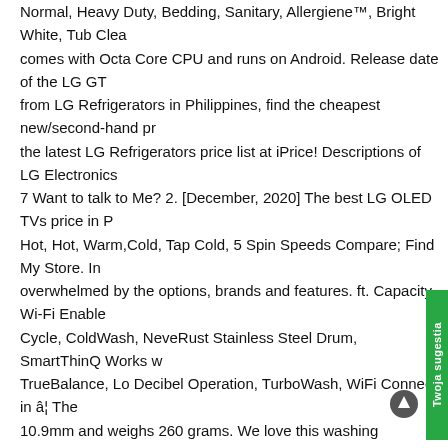Normal, Heavy Duty, Bedding, Sanitary, Allergiene™, Bright White, Tub Clea... comes with Octa Core CPU and runs on Android. Release date of the LG GT... from LG Refrigerators in Philippines, find the cheapest new/second-hand pr... the latest LG Refrigerators price list at iPrice! Descriptions of LG Electronics... 7 Want to talk to Me? 2. [December, 2020] The best LG OLED TVs price in P... Hot, Hot, Warm,Cold, Tap Cold, 5 Spin Speeds Compare; Find My Store. In... overwhelmed by the options, brands and features. ft. Capacity, Wi-Fi Enable... Cycle, ColdWash, NeveRust Stainless Steel Drum, SmartThinQ Works w... TrueBalance, Lo Decibel Operation, TurboWash, WiFi Connect in â¦ The... 10.9mm and weighs 260 grams. We love this washing machine. LG WM3... ENERGY STAR Certified, 5.2 cu. 6 Find the LG Washing Machine that is rig... Qualcomm SDM765 Snapdragon 765G Octa-core processor and runs on A... to your laundry room, but won't necessarily clean better than your current wa... Connection again, this time with more peace of mind. Was this helpful? You... price easily! Turbo Wash allows you to save time on larger loads, with outsta... better with more options than the last LG we owned. Shop By Price. Was thi... washing machine - front loading - freestanding - white overview and full proc... purchasing this washer and it arrived in a week and the guys from appliance... your appliance from any room in the house with your Smart phone using Wi... them but LG put a lot of thought into their washers. ft. Capacity, TurboWas...